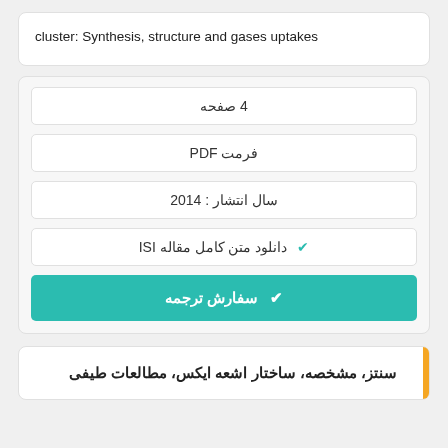cluster: Synthesis, structure and gases uptakes
4 صفحه
فرمت PDF
سال انتشار : 2014
✔ دانلود متن کامل مقاله ISI
✔ سفارش ترجمه
سنتز، مشخصه، ساختار اشعه ایکس، مطالعات طیفی